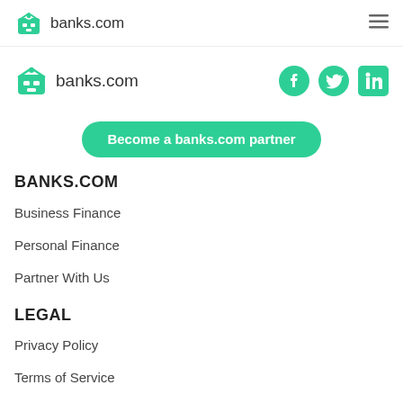banks.com
[Figure (logo): banks.com logo with robot/house icon and social media icons (Facebook, Twitter, LinkedIn)]
[Figure (other): Green rounded button: Become a banks.com partner]
BANKS.COM
Business Finance
Personal Finance
Partner With Us
LEGAL
Privacy Policy
Terms of Service